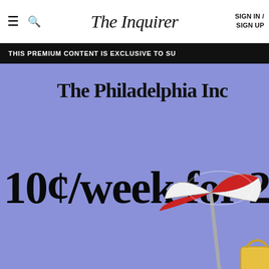The Inquirer | SIGN IN / SIGN UP
THIS PREMIUM CONTENT IS EXCLUSIVE TO SU
[Figure (illustration): The Philadelphia Inquirer subscription promotion page with blue background, blackletter logo reading 'The Philadelphia Inc' (truncated), large text '10¢/week for 2' (truncated), and beach umbrella illustration in red and white at bottom right]
10¢/week for 2